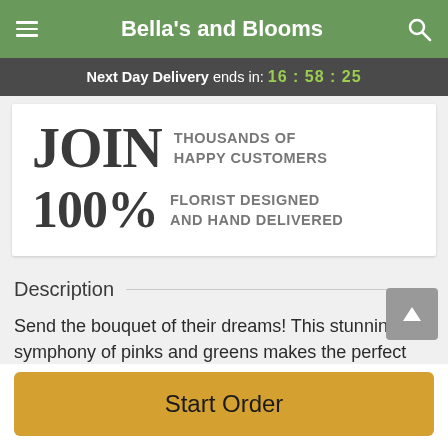Bella's and Blooms
Next Day Delivery ends in: 16:58:25
JOIN THOUSANDS OF HAPPY CUSTOMERS
100% FLORIST DESIGNED AND HAND DELIVERED
Description
Send the bouquet of their dreams! This stunning symphony of pinks and greens makes the perfect gift for your
Start Order